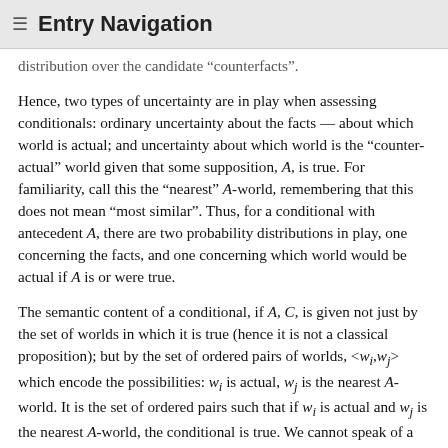≡ Entry Navigation
distribution over the candidate “counterfacts”.
Hence, two types of uncertainty are in play when assessing conditionals: ordinary uncertainty about the facts — about which world is actual; and uncertainty about which world is the “counter-actual” world given that some supposition, A, is true. For familiarity, call this the “nearest” A-world, remembering that this does not mean “most similar”. Thus, for a conditional with antecedent A, there are two probability distributions in play, one concerning the facts, and one concerning which world would be actual if A is or were true.
The semantic content of a conditional, if A, C, is given not just by the set of worlds in which it is true (hence it is not a classical proposition); but by the set of ordered pairs of worlds, <w_i,w_j> which encode the possibilities: w_i is actual, w_j is the nearest A-world. It is the set of ordered pairs such that if w_i is actual and w_j is the nearest A-world, the conditional is true. We cannot speak of a conditional sentence being true or false at a world, simpliciter, for that